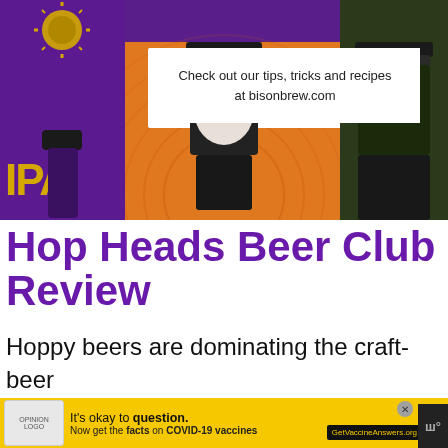[Figure (photo): Banner image showing beer bottles on an orange background with a purple IPA bottle label on the left, dark beer bottles in the center and right. A white text box overlay reads 'Check out our tips, tricks and recipes at bisonbrew.com'.]
Check out our tips, tricks and recipes at bisonbrew.com
Hop Heads Beer Club Review
Hoppy beers are dominating the craft-beer market place. Almost every brewery makes at l
[Figure (infographic): Bottom advertisement bar in yellow: 'It's okay to question. Now get the facts on COVID-19 vaccines GetVaccineAnswers.org' with a logo and close button]